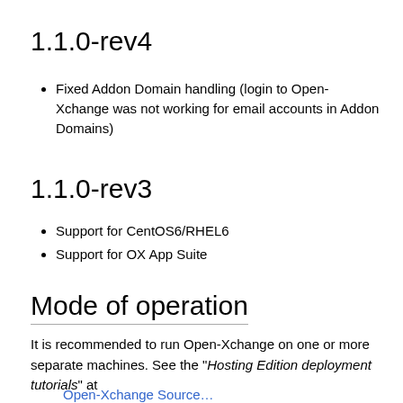1.1.0-rev4
Fixed Addon Domain handling (login to Open-Xchange was not working for email accounts in Addon Domains)
1.1.0-rev3
Support for CentOS6/RHEL6
Support for OX App Suite
Mode of operation
It is recommended to run Open-Xchange on one or more separate machines. See the "Hosting Edition deployment tutorials" at
Open-Xchange Source …